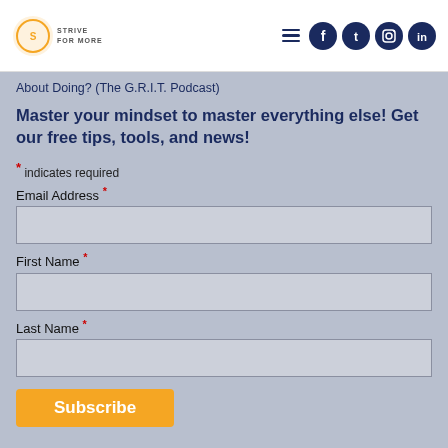[Figure (logo): Strive for More logo with orange circular icon and text]
About Doing? (The G.R.I.T. Podcast)
Master your mindset to master everything else! Get our free tips, tools, and news!
* indicates required
Email Address *
First Name *
Last Name *
Subscribe